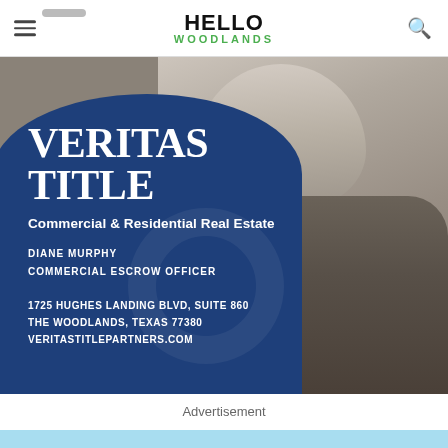HELLO WOODLANDS
[Figure (photo): Advertisement for Veritas Title showing a woman with gray hair smiling, wearing a floral blazer, set against a blue rounded banner with company name, tagline, and contact information.]
VERITAS TITLE
Commercial & Residential Real Estate
DIANE MURPHY
COMMERCIAL ESCROW OFFICER
1725 HUGHES LANDING BLVD, SUITE 860
THE WOODLANDS, TEXAS 77380
VERITASTITLEPARTNERS.COM
Advertisement